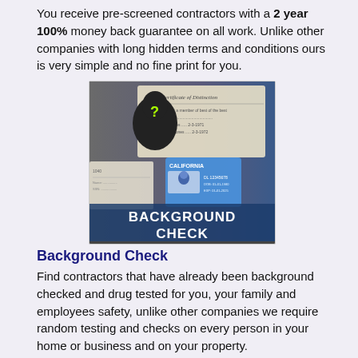You receive pre-screened contractors with a 2 year 100% money back guarantee on all work. Unlike other companies with long hidden terms and conditions ours is very simple and no fine print for you.
[Figure (photo): Background check image showing a silhouette with a question mark, California ID card, and certificates, with text 'BACKGROUND CHECK']
Background Check
Find contractors that have already been background checked and drug tested for you, your family and employees safety, unlike other companies we require random testing and checks on every person in your home or business and on your property.
[Figure (photo): Partially visible image at the bottom of the page]